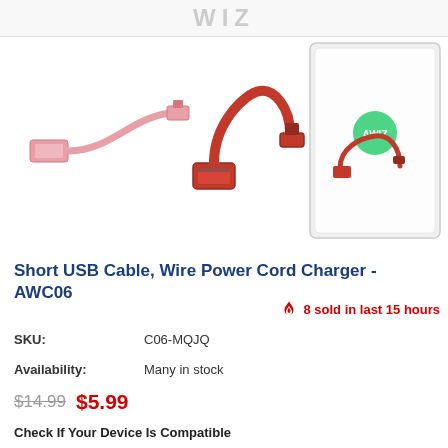WIZ
[Figure (photo): Three product images of short USB cables: a pink flat USB cable, a red curved USB-to-Lightning cable, and a retail packaging of the red cable in a clear zip bag with a green logo.]
Short USB Cable, Wire Power Cord Charger - AWC06
8 sold in last 15 hours
SKU: C06-MQJQ
Availability: Many in stock
$14.99  $5.99
Check If Your Device Is Compatible